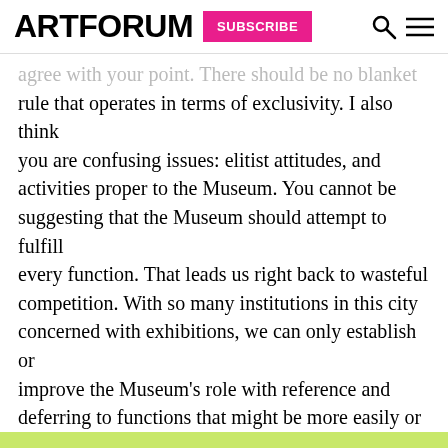ARTFORUM | SUBSCRIBE
agree with your point. There should be no blanket rule that operates in terms of exclusivity. I also think you are confusing issues: elitist attitudes, and activities proper to the Museum. You cannot be suggesting that the Museum should attempt to fulfill every function. That leads us right back to wasteful competition. With so many institutions in this city concerned with exhibitions, we can only establish or improve the Museum’s role with reference and deferring to functions that might be more easily or
You have 2 articles remaining this month. Subscribe for immediate access to this and over five decades of articles from our archives.